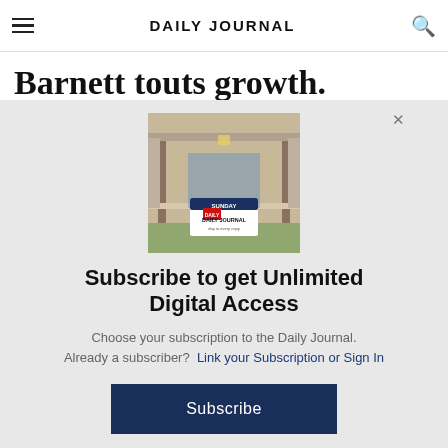DAILY JOURNAL
Barnett touts growth.
[Figure (photo): Photograph of a house porch with a Daily Journal newspaper sign in front]
Subscribe to get Unlimited Digital Access
Choose your subscription to the Daily Journal.
Already a subscriber?  Link your Subscription or Sign In
Subscribe